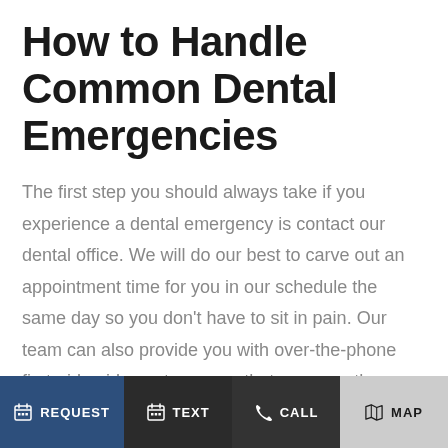How to Handle Common Dental Emergencies
The first step you should always take if you experience a dental emergency is contact our dental office. We will do our best to carve out an appointment time for you in our schedule the same day so you don't have to sit in pain. Our team can also provide you with over-the-phone first-aid guidance to ensure that your mouth doesn't sustain any additional damage between the time of the accident and when you get to our prothodontic office.
REQUEST | TEXT | CALL | MAP